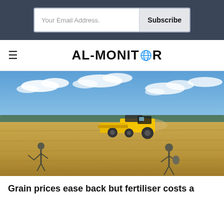Your Email Address. Subscribe
AL-MONITOR
[Figure (photo): A yellow combine harvester working in a large grain field under a blue sky with scattered clouds. Two armed soldiers or guards are visible in the foreground standing in the field.]
Grain prices ease back but fertiliser costs a